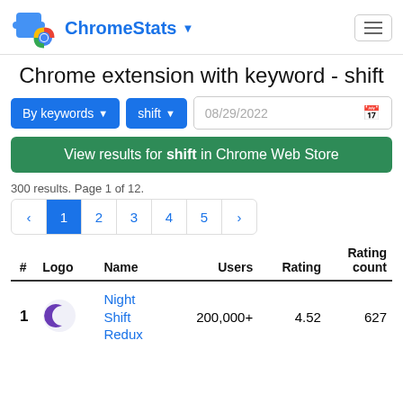ChromeStats
Chrome extension with keyword - shift
By keywords ▾   shift ▾   08/29/2022
View results for shift in Chrome Web Store
300 results. Page 1 of 12.
| # | Logo | Name | Users | Rating | Rating count |
| --- | --- | --- | --- | --- | --- |
| 1 |  | Night Shift Redux | 200,000+ | 4.52 | 627 |